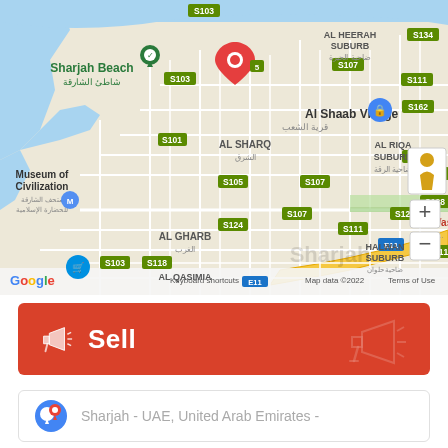[Figure (map): Google Maps screenshot showing Sharjah, UAE area including Al Shaab Village, Sharjah Beach, Museum of Civilization, Al Sharq, Al Gharb, Al Qasimia, Al Heerah Suburb, Al Riqa Suburb, Halwan Suburb, and various road labels (S103, S107, S111, S101, S105, S115, S118, S124, S126, S128, S134, S162, E11). A red location pin is placed near Al Shaab Village. Map data copyright 2022.]
[Figure (infographic): Red banner with megaphone icon on left and text 'Sell' in white bold font, decorative megaphone outline on right.]
[Figure (infographic): White card with location pin icon and text 'Sharjah - UAE, United Arab Emirates -']